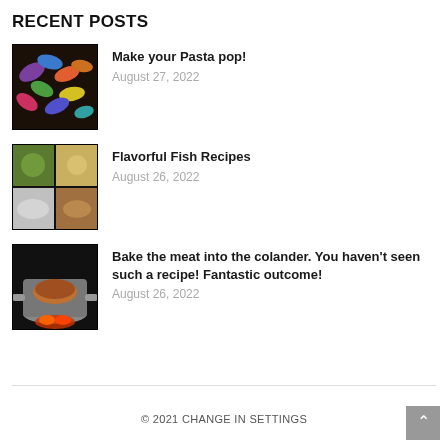RECENT POSTS
Make your Pasta pop! | August 27, 2022
Flavorful Fish Recipes | August 26, 2022
Bake the meat into the colander. You haven't seen such a recipe! Fantastic outcome! | August 26, 2022
© 2021 CHANGE IN SETTINGS